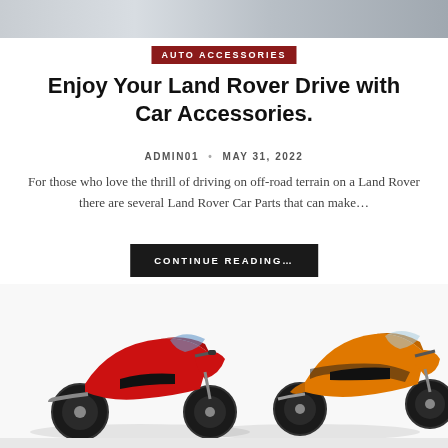[Figure (photo): Top partial image, appears to be a vehicle or scene, cropped at the top of the page]
AUTO ACCESSORIES
Enjoy Your Land Rover Drive with Car Accessories.
ADMIN01 · MAY 31, 2022
For those who love the thrill of driving on off-road terrain on a Land Rover there are several Land Rover Car Parts that can make...
CONTINUE READING...
[Figure (photo): Two sport motorcycles side by side on a white background — a red one on the left and an orange/black one on the right]